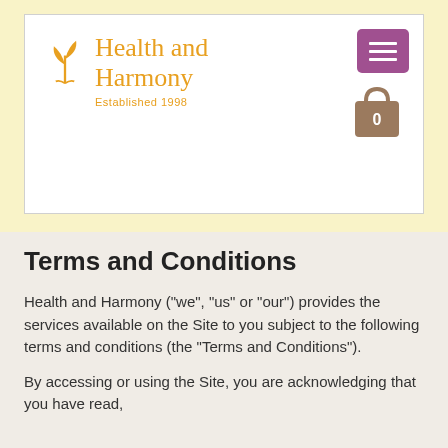[Figure (logo): Health and Harmony logo with orange plant/leaf icon, text 'Health and Harmony' in orange, 'Established 1998' below, purple hamburger menu button top right, shopping bag icon with 0]
Terms and Conditions
Health and Harmony ("we", "us" or "our") provides the services available on the Site to you subject to the following terms and conditions (the "Terms and Conditions").
By accessing or using the Site, you are acknowledging that you have read,